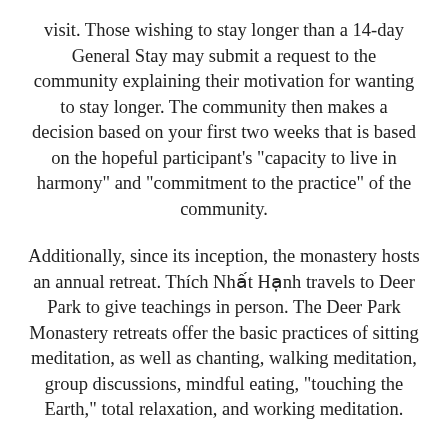visit. Those wishing to stay longer than a 14-day General Stay may submit a request to the community explaining their motivation for wanting to stay longer. The community then makes a decision based on your first two weeks that is based on the hopeful participant’s “capacity to live in harmony” and “commitment to the practice” of the community.
Additionally, since its inception, the monastery hosts an annual retreat. Thích Nhất Hạnh travels to Deer Park to give teachings in person. The Deer Park Monastery retreats offer the basic practices of sitting meditation, as well as chanting, walking meditation, group discussions, mindful eating, “touching the Earth,” total relaxation, and working meditation.